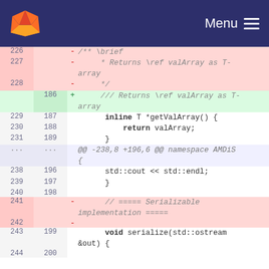GitLab Menu
[Figure (screenshot): GitLab code diff view showing changes to a C++ file. Lines 226-228 deleted (/** \brief * Returns \ref valArray as T-array */), line 186 added (/// Returns \ref valArray as T-array), context lines 229-231/187-189 inline T *getValArray() { return valArray; }, hunk @@ -238,8 +196,6 @@ namespace AMDiS, context { std::cout << std::endl; }, lines 241-242 deleted (// ===== Serializable implementation =====), context line 243/199 void serialize(std::ostream &out) {]